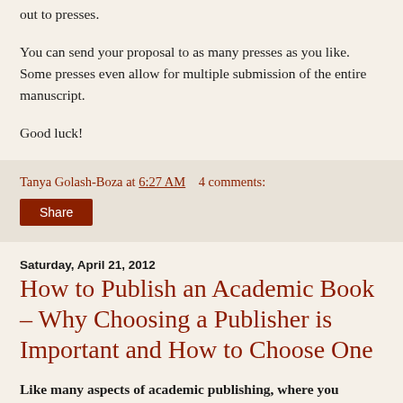out to presses. You can send your proposal to as many presses as you like. Some presses even allow for multiple submission of the entire manuscript.
Good luck!
Tanya Golash-Boza at 6:27 AM    4 comments:
Share
Saturday, April 21, 2012
How to Publish an Academic Book – Why Choosing a Publisher is Important and How to Choose One
Like many aspects of academic publishing, where you publish is often as important as what you publish. Thus, the decision of where to publish your academic book is a crucial one. It could also make a huge difference in your career.